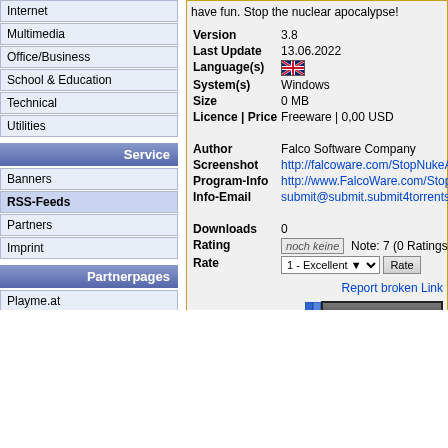Internet
Multimedia
Office/Business
School & Education
Technical
Utilities
Service
Banners
RSS-Feeds
Partners
Imprint
Partnerpages
Playme.at
have fun. Stop the nuclear apocalypse!
| Field | Value |
| --- | --- |
| Version | 3.8 |
| Last Update | 13.06.2022 |
| Language(s) | [UK flag] |
| System(s) | Windows |
| Size | 0 MB |
| Licence | Price | Freeware | 0,00 USD |
| Author | Falco Software Company |
| Screenshot | http://falcoware.com/StopNukeApoca... |
| Program-Info | http://www.FalcoWare.com/StopNuk... |
| Info-Email | submit@submit.submit4torrents.com... |
| Downloads | 0 |
| Rating | noch keine  Note: 7 (0 Ratings) |
| Rate | 1 - Excellent ▼  Rate |
Report broken Link
[Figure (other): DOWNLOAD button]